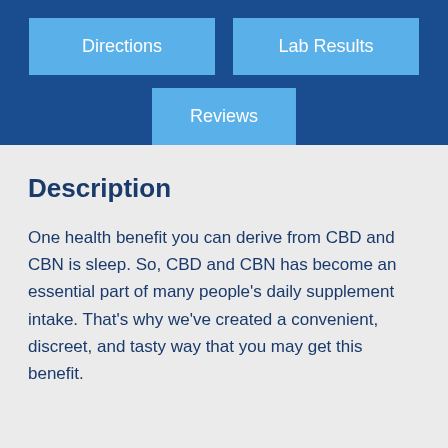[Figure (infographic): Navigation button: Directions (light blue on dark blue background)]
[Figure (infographic): Navigation button: Lab Results (light blue on dark blue background)]
[Figure (infographic): Navigation button: Reviews (light blue, centered, on dark blue background)]
Description
One health benefit you can derive from CBD and CBN is sleep. So, CBD and CBN has become an essential part of many people's daily supplement intake. That’s why we’ve created a convenient, discreet, and tasty way that you may get this benefit.